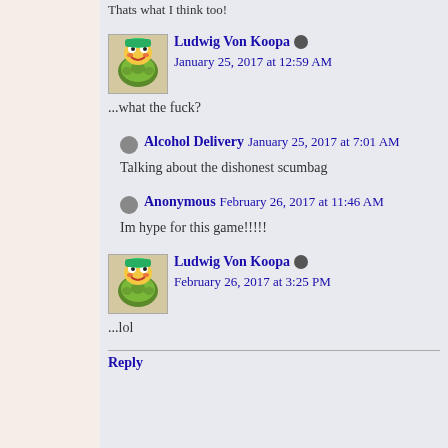Thats what I think too!
Ludwig Von Koopa  January 25, 2017 at 12:59 AM
...what the fuck?
Alcohol Delivery  January 25, 2017 at 7:01 AM
Talking about the dishonest scumbag
Anonymous  February 26, 2017 at 11:46 AM
Im hype for this game!!!!!
Ludwig Von Koopa  February 26, 2017 at 3:25 PM
...lol
Reply